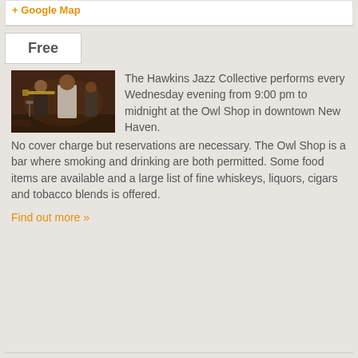+ Google Map
Free
[Figure (photo): Jazz musicians performing in a dark bar setting with brick walls, a trombone player and other band members visible]
The Hawkins Jazz Collective performs every Wednesday evening from 9:00 pm to midnight at the Owl Shop in downtown New Haven.  No cover charge but reservations are necessary.  The Owl Shop is a bar where smoking and drinking are both permitted.  Some food items are available and a large list of fine whiskeys, liquors, cigars and tobacco blends is offered.
Find out more »